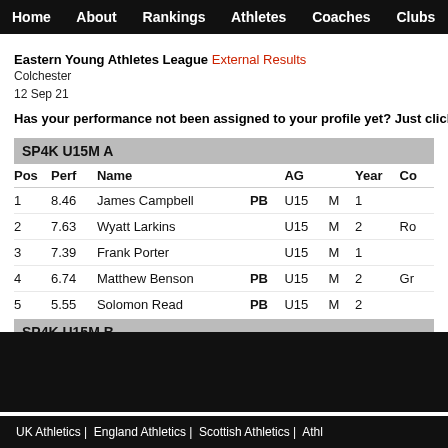Home   About   Rankings   Athletes   Coaches   Clubs   Highlight
Eastern Young Athletes League External Results
Colchester
12 Sep 21
Has your performance not been assigned to your profile yet? Just click the
SP4K U15M A
| Pos | Perf | Name |  | AG |  | Year | Co |
| --- | --- | --- | --- | --- | --- | --- | --- |
| 1 | 8.46 | James Campbell | PB | U15 | M | 1 |  |
| 2 | 7.63 | Wyatt Larkins |  | U15 | M | 2 | Ro |
| 3 | 7.39 | Frank Porter |  | U15 | M | 1 |  |
| 4 | 6.74 | Matthew Benson | PB | U15 | M | 2 | Gr |
| 5 | 5.55 | Solomon Read | PB | U15 | M | 2 |  |
SP4K U15M B
| Pos | Perf | Name |  | AG |  | Year | Co |
| --- | --- | --- | --- | --- | --- | --- | --- |
| 1 | 4.53 | Samuel Yellop | PB | U15 | M | 2 | Da |
UK Athletics |  England Athletics |  Scottish Athletics |  Athl